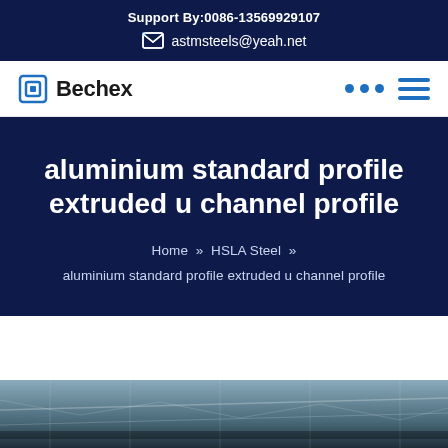Support By:0086-13569929107
astmsteels@yeah.net
[Figure (logo): Bechex company logo with square icon]
aluminium standard profile extruded u channel profile
Home » HSLA Steel » aluminium standard profile extruded u channel profile
[Figure (photo): Industrial building interior with steel framework and roof structure]